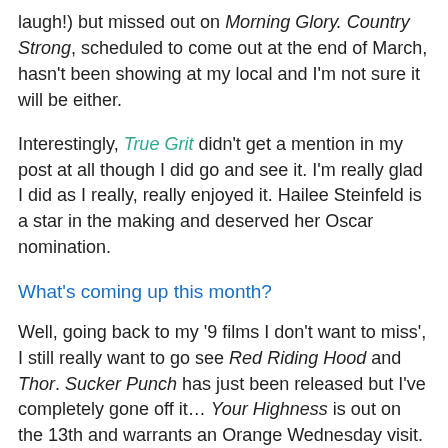laugh!) but missed out on Morning Glory. Country Strong, scheduled to come out at the end of March, hasn't been showing at my local and I'm not sure it will be either.
Interestingly, True Grit didn't get a mention in my post at all though I did go and see it. I'm really glad I did as I really, really enjoyed it. Hailee Steinfeld is a star in the making and deserved her Oscar nomination.
What's coming up this month?
Well, going back to my '9 films I don't want to miss', I still really want to go see Red Riding Hood and Thor. Sucker Punch has just been released but I've completely gone off it… Your Highness is out on the 13th and warrants an Orange Wednesday visit.